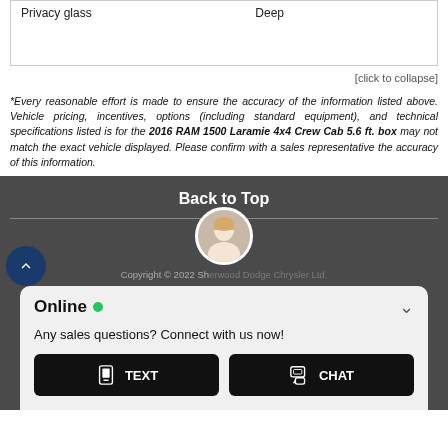| Privacy glass | Deep |
[click to collapse]
*Every reasonable effort is made to ensure the accuracy of the information listed above. Vehicle pricing, incentives, options (including standard equipment), and technical specifications listed is for the 2016 RAM 1500 Laramie 4x4 Crew Cab 5.6 ft. box may not match the exact vehicle displayed. Please confirm with a sales representative the accuracy of this information.
Back to Top
Copyright © 2022 Sherwood Dodge Chrysler Ltd.
[Figure (screenshot): Online chat widget with avatar, green dot status, TEXT and CHAT buttons]